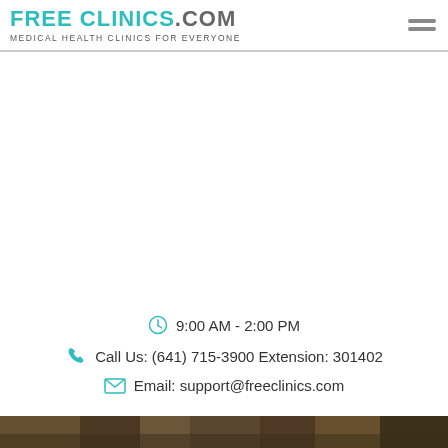FREECLINICS.COM - Medical Health Clinics For Everyone
9:00 AM - 2:00 PM
Call Us: (641) 715-3900 Extension: 301402
Email: support@freeclinics.com
[Figure (photo): Dark brown footer image strip at the bottom of the page]